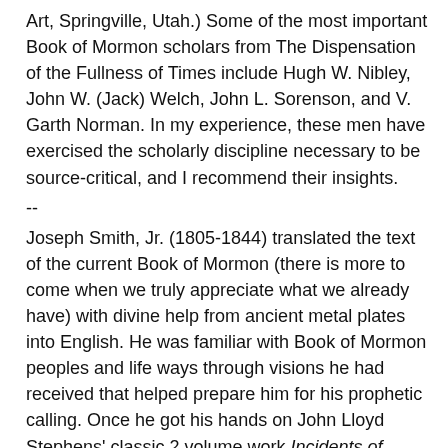Art, Springville, Utah.) Some of the most important Book of Mormon scholars from The Dispensation of the Fullness of Times include Hugh W. Nibley, John W. (Jack) Welch, John L. Sorenson, and V. Garth Norman. In my experience, these men have exercised the scholarly discipline necessary to be source-critical, and I recommend their insights.
--
Joseph Smith, Jr. (1805-1844) translated the text of the current Book of Mormon (there is more to come when we truly appreciate what we already have) with divine help from ancient metal plates into English. He was familiar with Book of Mormon peoples and life ways through visions he had received that helped prepare him for his prophetic calling. Once he got his hands on John Lloyd Stephens' classic 2 volume work Incidents of Travel in Central America, Chiapas, and Yucatan (New York: Harper & Brothers, 1841), the sumptuous Frederick Catherwood illustrations reminded Smith of the cultures he had seen in vision. The prophet and his inner circle (John Taylor, Wilford Woodruff) began publishing articles in the official LDS periodical of their day (Times and Seasons, Nauvoo, Illinois) about the relationships they saw between Book of Mormon civilizations